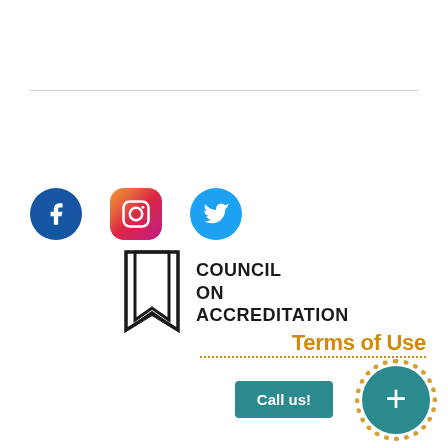[Figure (logo): Facebook, Instagram, and Twitter social media icons]
[Figure (logo): Council on Accreditation logo with bookmark icon and text]
Terms of Use
Call us!